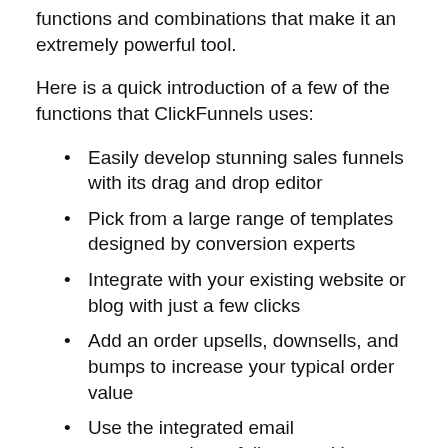functions and combinations that make it an extremely powerful tool.
Here is a quick introduction of a few of the functions that ClickFunnels uses:
Easily develop stunning sales funnels with its drag and drop editor
Pick from a large range of templates designed by conversion experts
Integrate with your existing website or blog with just a few clicks
Add an order upsells, downsells, and bumps to increase your typical order value
Use the integrated email autoresponder to follow up with your leads and clients